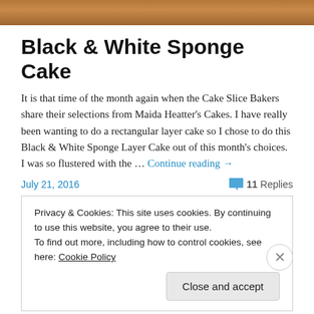[Figure (photo): Top portion of a wooden surface or cake image, cropped]
Black & White Sponge Cake
It is that time of the month again when the Cake Slice Bakers share their selections from Maida Heatter's Cakes. I have really been wanting to do a rectangular layer cake so I chose to do this Black & White Sponge Layer Cake out of this month's choices. I was so flustered with the … Continue reading →
July 21, 2016   11 Replies
Privacy & Cookies: This site uses cookies. By continuing to use this website, you agree to their use.
To find out more, including how to control cookies, see here: Cookie Policy
Close and accept